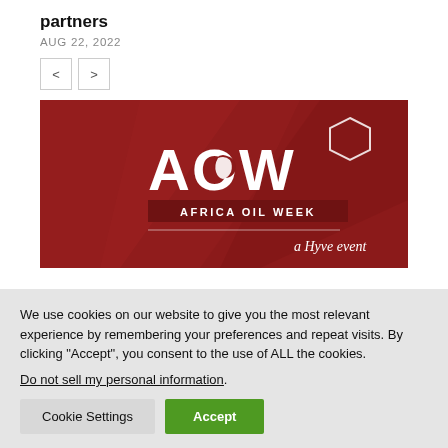partners
AUG 22, 2022
[Figure (logo): Africa Oil Week (AOW) logo on dark red background with hexagon graphic and text 'AFRICA OIL WEEK' and 'a Hyve event']
We use cookies on our website to give you the most relevant experience by remembering your preferences and repeat visits. By clicking "Accept", you consent to the use of ALL the cookies.
Do not sell my personal information.